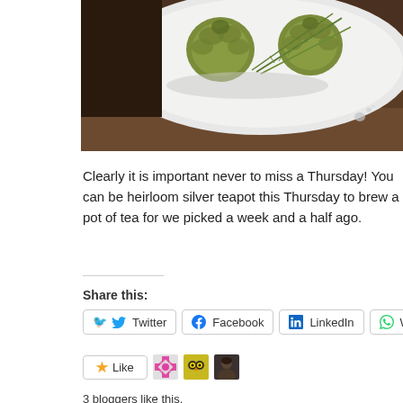[Figure (photo): A white plate with artichokes and rosemary herb garnish on a dark wooden table, photo cropped at top]
Clearly it is important never to miss a Thursday! You can be heirloom silver teapot this Thursday to brew a pot of tea for we picked a week and a half ago.
Share this:
Twitter
Facebook
LinkedIn
WhatsApp
Email
Like
3 bloggers like this.